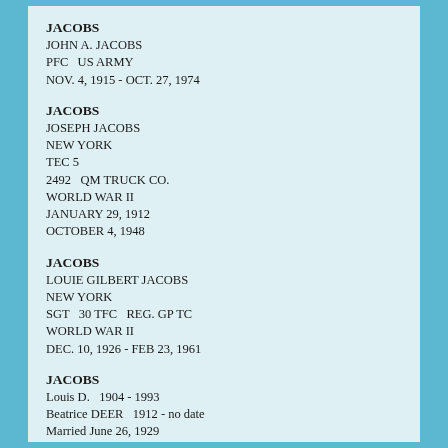JACOBS
JOHN A. JACOBS
PFC   US ARMY
NOV. 4, 1915 - OCT. 27, 1974
JACOBS
JOSEPH JACOBS
NEW YORK
TEC 5
2492   QM TRUCK CO.
WORLD WAR II
JANUARY 29, 1912
OCTOBER 4, 1948
JACOBS
LOUIE GILBERT JACOBS
NEW YORK
SGT   30 TFC   REG. GP TC
WORLD WAR II
DEC. 10, 1926 - FEB 23, 1961
JACOBS
Louis D.   1904 - 1993
Beatrice DEER   1912 - no date
Married June 26, 1929
JACOBS
Mitchell B.   Oct. 20, 1905 - Oct. 3, 1990